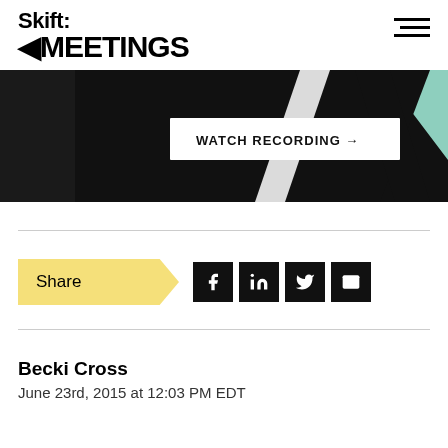Skift MEETINGS
[Figure (screenshot): Dark banner with 'WATCH RECORDING →' button and geometric design with black and mint green shapes]
Share
Becki Cross
June 23rd, 2015 at 12:03 PM EDT